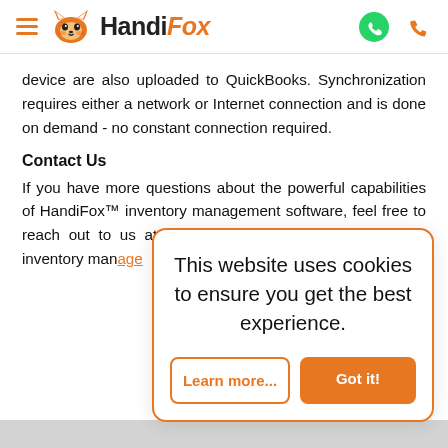HandiFox
device are also uploaded to QuickBooks. Synchronization requires either a network or Internet connection and is done on demand - no constant connection required.
Contact Us
If you have more questions about the powerful capabilities of HandiFox™ inventory management software, feel free to reach out to us at our contact page. Supercharge your inventory management with HandiFox today!
This website uses cookies to ensure you get the best experience.
Learn more...
Got it!